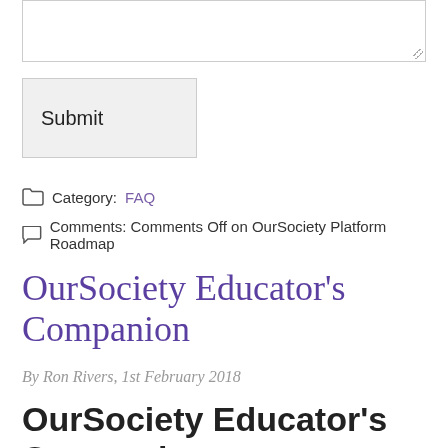[Figure (other): Textarea input box with resize handle]
Submit
Category: FAQ
Comments: Comments Off on OurSociety Platform Roadmap
OurSociety Educator's Companion
By Ron Rivers, 1st February 2018
OurSociety Educator's Companion